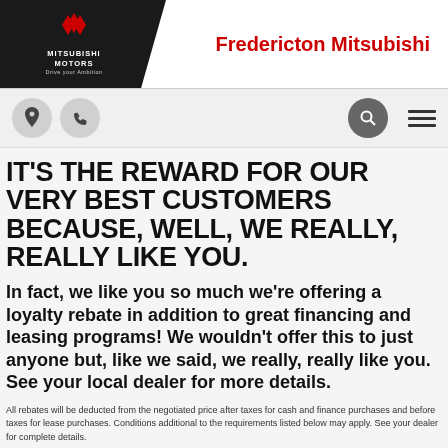[Figure (logo): Mitsubishi Motors logo with diamond emblem and 'Drive your Ambition' tagline on black background]
Fredericton Mitsubishi
[Figure (infographic): Navigation bar with location pin icon, phone icon, search icon, and hamburger menu icon]
IT'S THE REWARD FOR OUR VERY BEST CUSTOMERS BECAUSE, WELL, WE REALLY, REALLY LIKE YOU.
In fact, we like you so much we're offering a loyalty rebate in addition to great financing and leasing programs! We wouldn't offer this to just anyone but, like we said, we really, really like you. See your local dealer for more details.
All rebates will be deducted from the negotiated price after taxes for cash and finance purchases and before taxes for lease purchases. Conditions additional to the requirements listed below may apply. See your dealer for complete details.
Rebates are available on the purchase of most new Mitsubishi models to current owners and eligible others. Amounts vary by model.